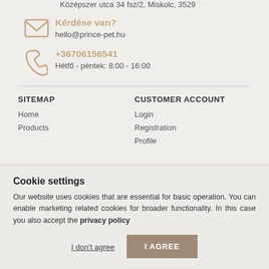Középszer utca 34 fsz/2, Miskolc, 3529
Kérdése van?
hello@prince-pet.hu
+36706156541
Hétfő - péntek: 8:00 - 16:00
SITEMAP
Home
Products
CUSTOMER ACCOUNT
Login
Registration
Profile
Cookie settings
Our website uses cookies that are essential for basic operation. You can enable marketing related cookies for broader functionality. In this case you also accept the privacy policy
I don't agree
I AGREE